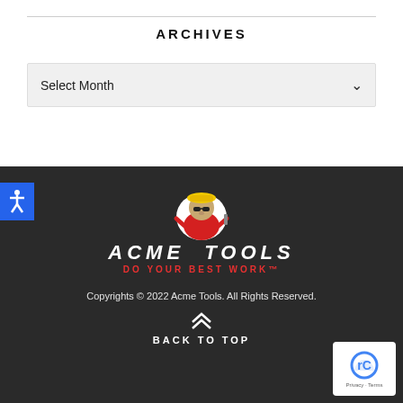ARCHIVES
Select Month
[Figure (logo): Acme Tools logo with mascot character (animal in hard hat and red jacket holding tools), text 'ACME TOOLS' in white italic letters, tagline 'DO YOUR BEST WORK™' in red]
Copyrights © 2022 Acme Tools. All Rights Reserved.
BACK TO TOP